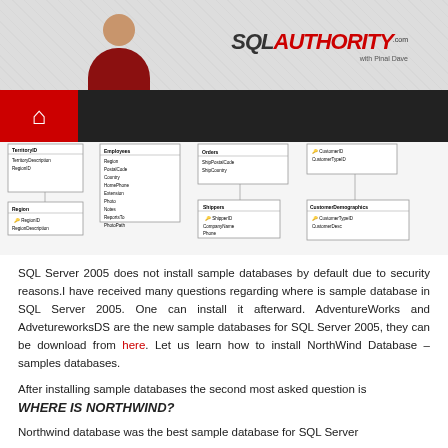SQL AUTHORITY - with Pinal Dave
[Figure (engineering-diagram): Database entity-relationship diagram showing tables: Region, Territories, Shippers, CustomerDemographics with fields and relationships]
SQL Server 2005 does not install sample databases by default due to security reasons.I have received many questions regarding where is sample database in SQL Server 2005. One can install it afterward. AdventureWorks and AdvetureworksDS are the new sample databases for SQL Server 2005, they can be download from here. Let us learn how to install NorthWind Database – samples databases.
After installing sample databases the second most asked question is
WHERE IS NORTHWIND?
Northwind database was the best sample database for SQL Server